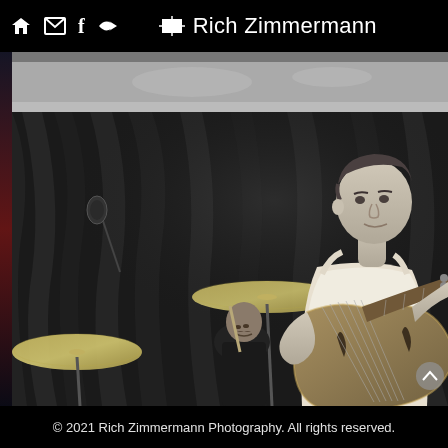Rich Zimmermann
[Figure (photo): Black and white photograph of a young man playing an electric guitar on stage, wearing a white tank top, with a drummer visible behind him, cymbals prominent in the foreground, and a dark curtain backdrop. A microphone stand is visible on the left.]
© 2021 Rich Zimmermann Photography. All rights reserved.